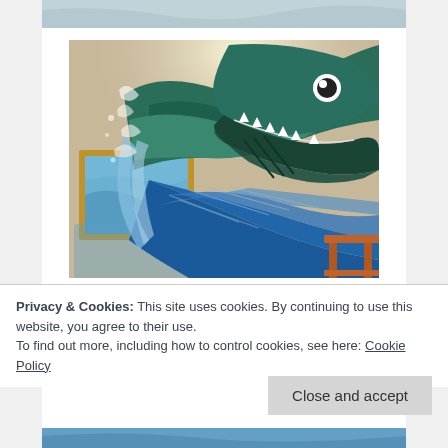[Figure (photo): Partial top strip of an artwork/photo, barely visible at the top of the page]
[Figure (photo): 3D trompe l'oeil painting of a large fish (resembling a marlin or predatory sea creature) bursting out of a framed painting on a wall, with water splashing, painted in blues and greens, open mouth showing teeth, with a wooden stool visible in the background]
Privacy & Cookies: This site uses cookies. By continuing to use this website, you agree to their use.
To find out more, including how to control cookies, see here: Cookie Policy
Close and accept
[Figure (photo): Bottom strip of another artwork/photo, partially visible at the very bottom of the page, showing blues]